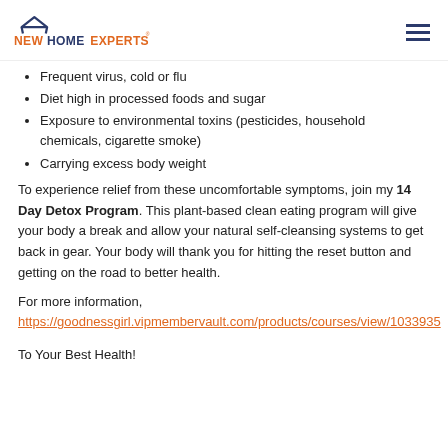NEW HOME EXPERTS
Frequent virus, cold or flu
Diet high in processed foods and sugar
Exposure to environmental toxins (pesticides, household chemicals, cigarette smoke)
Carrying excess body weight
To experience relief from these uncomfortable symptoms, join my 14 Day Detox Program. This plant-based clean eating program will give your body a break and allow your natural self-cleansing systems to get back in gear. Your body will thank you for hitting the reset button and getting on the road to better health.
For more information, https://goodnessgirl.vipmembervault.com/products/courses/view/1033935
To Your Best Health!